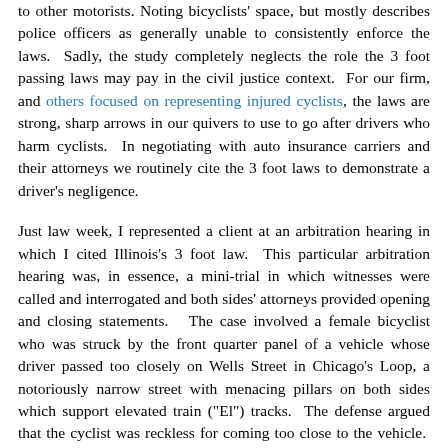to other motorists. Noting bicyclists' space, but mostly describes police officers as generally unable to consistently enforce the laws. Sadly, the study completely neglects the role the 3 foot passing laws may pay in the civil justice context. For our firm, and others focused on representing injured cyclists, the laws are strong, sharp arrows in our quivers to use to go after drivers who harm cyclists. In negotiating with auto insurance carriers and their attorneys we routinely cite the 3 foot laws to demonstrate a driver's negligence.
Just law week, I represented a client at an arbitration hearing in which I cited Illinois's 3 foot law. This particular arbitration hearing was, in essence, a mini-trial in which witnesses were called and interrogated and both sides' attorneys provided opening and closing statements. The case involved a female bicyclist who was struck by the front quarter panel of a vehicle whose driver passed too closely on Wells Street in Chicago's Loop, a notoriously narrow street with menacing pillars on both sides which support elevated train ("El") tracks. The defense argued that the cyclist was reckless for coming too close to the vehicle. However, citing the 3 foot passing law, I was able to effectively demonstrate that it was